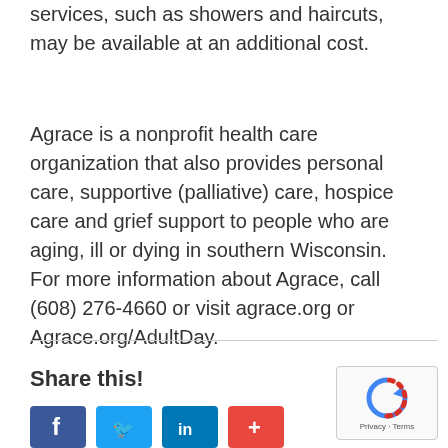services, such as showers and haircuts, may be available at an additional cost.
Agrace is a nonprofit health care organization that also provides personal care, supportive (palliative) care, hospice care and grief support to people who are aging, ill or dying in southern Wisconsin. For more information about Agrace, call (608) 276-4660 or visit agrace.org or Agrace.org/AdultDay.
Share this!
[Figure (other): Social media share buttons: Facebook, Twitter, LinkedIn, and a plus/share button]
[Figure (other): reCAPTCHA widget with Privacy and Terms links]